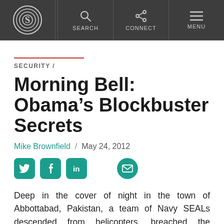S [logo] / SEARCH / CONNECT / MENU
SECURITY /
Morning Bell: Obama’s Blockbuster Secrets
Mike Brownfield / May 24, 2012
[Figure (infographic): Social share icons: Twitter, Facebook, LinkedIn, Email]
Deep in the cover of night in the town of Abbottabad, Pakistan, a team of Navy SEALs descended from helicopters, breached the compound of terrorist mastermind Osama bin Laden and brought him to